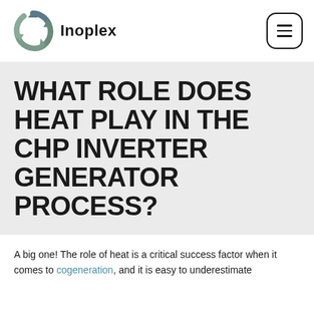Inoplex
WHAT ROLE DOES HEAT PLAY IN THE CHP INVERTER GENERATOR PROCESS?
A big one! The role of heat is a critical success factor when it comes to cogeneration, and it is easy to underestimate